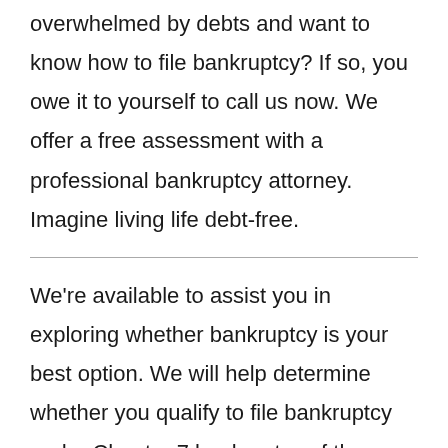overwhelmed by debts and want to know how to file bankruptcy? If so, you owe it to yourself to call us now. We offer a free assessment with a professional bankruptcy attorney. Imagine living life debt-free.
We're available to assist you in exploring whether bankruptcy is your best option. We will help determine whether you qualify to file bankruptcy under Chapter 7 bankruptcy of the Bankruptcy Code. NoWorriesBankruptcy.com is a debt relief agency dedicated to helping